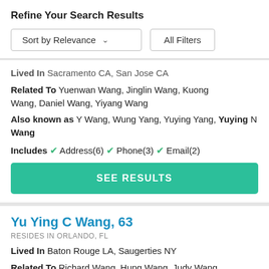Refine Your Search Results
Sort by Relevance  ∨    All Filters
Lived In Sacramento CA, San Jose CA
Related To Yuenwan Wang, Jinglin Wang, Kuong Wang, Daniel Wang, Yiyang Wang
Also known as Y Wang, Wung Yang, Yuying Yang, Yuying N Wang
Includes ✓ Address(6) ✓ Phone(3) ✓ Email(2)
SEE RESULTS
Yu Ying C Wang, 63
RESIDES IN ORLANDO, FL
Lived In Baton Rouge LA, Saugerties NY
Related To Richard Wang, Hung Wang, Judy Wang
Also known as Yuying C Wang, Yu-Ying Chang Wang, Ju H W...